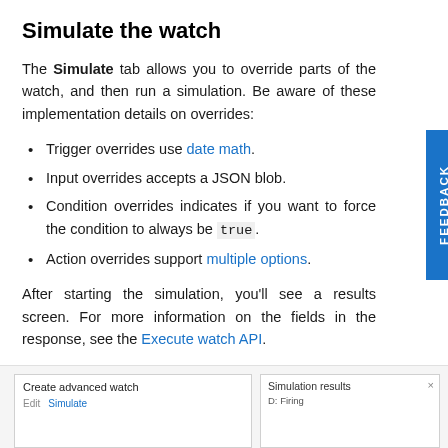Simulate the watch
The Simulate tab allows you to override parts of the watch, and then run a simulation. Be aware of these implementation details on overrides:
Trigger overrides use date math.
Input overrides accepts a JSON blob.
Condition overrides indicates if you want to force the condition to always be true.
Action overrides support multiple options.
After starting the simulation, you'll see a results screen. For more information on the fields in the response, see the Execute watch API.
[Figure (screenshot): Screenshot showing two UI panels side by side: left panel titled 'Create advanced watch' with Edit and Simulate tabs; right panel titled 'Simulation results' showing 'D: Firing']